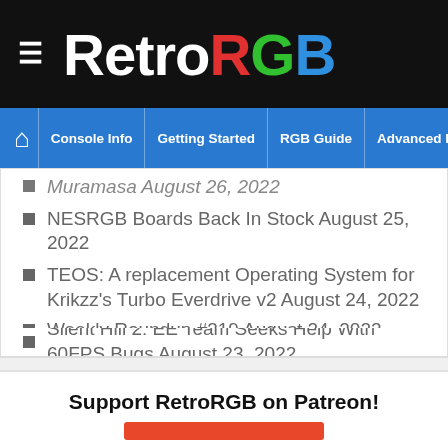RetroRGB
Console Info | Getting Started | RGB Guide | Advanced RGB Info | Ab
Muramasa August 26, 2022
NESRGB Boards Back In Stock August 25, 2022
TEOS: A replacement Operating System for Krikzz's Turbo Everdrive v2 August 24, 2022
Weekly Roundup #319 August 24, 2022
Silent Hill 2: EE Team Seeks Help With 60FPS Bugs August 23, 2022
Support RetroRGB on Patreon!